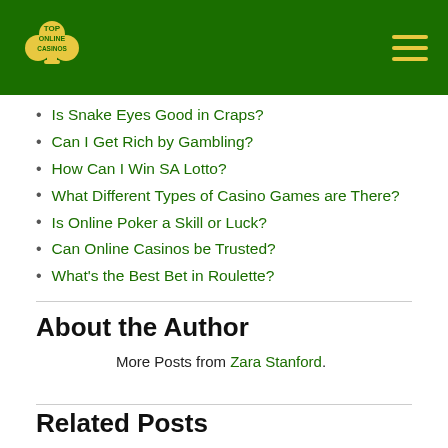TOP ONLINE CASINOS
Is Snake Eyes Good in Craps?
Can I Get Rich by Gambling?
How Can I Win SA Lotto?
What Different Types of Casino Games are There?
Is Online Poker a Skill or Luck?
Can Online Casinos be Trusted?
What's the Best Bet in Roulette?
About the Author
More Posts from Zara Stanford.
Related Posts